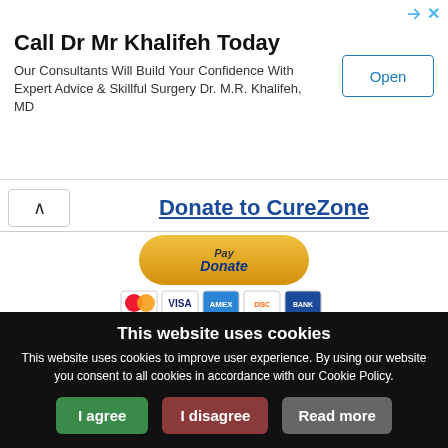[Figure (other): Advertisement banner for Dr Mr Khalifeh with Open button]
Call Dr Mr Khalifeh Today
Our Consultants Will Build Your Confidence With Expert Advice & Skillful Surgery Dr. M.R. Khalifeh, MD
Donate to CureZone
[Figure (other): PayPal donate button with credit card logos]
Terms of Service - Privacy Policy - Spam Policy - Disclaimer - Guidelines & Rules - Forum Trolls
This website uses cookies
This website uses cookies to improve user experience. By using our website you consent to all cookies in accordance with our Cookie Policy.